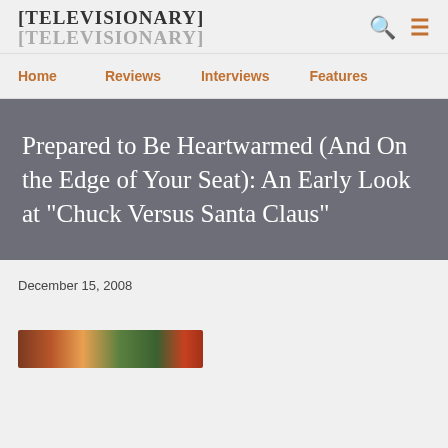[TELEVISIONARY] [TELEVISIONARY]
Home
Reviews
Interviews
Features
Prepared to Be Heartwarmed (And On the Edge of Your Seat): An Early Look at "Chuck Versus Santa Claus"
December 15, 2008
[Figure (photo): Partial image visible at bottom of page, colorful scene]